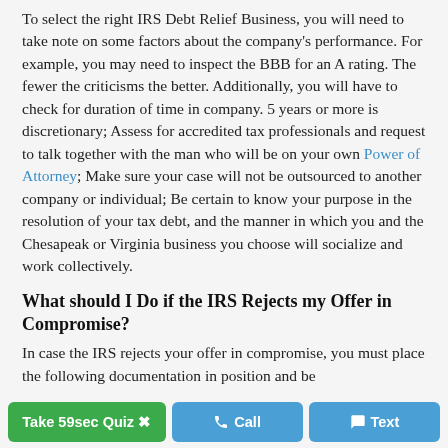To select the right IRS Debt Relief Business, you will need to take note on some factors about the company's performance. For example, you may need to inspect the BBB for an A rating. The fewer the criticisms the better. Additionally, you will have to check for duration of time in company. 5 years or more is discretionary; Assess for accredited tax professionals and request to talk together with the man who will be on your own Power of Attorney; Make sure your case will not be outsourced to another company or individual; Be certain to know your purpose in the resolution of your tax debt, and the manner in which you and the Chesapeak or Virginia business you choose will socialize and work collectively.
What should I Do if the IRS Rejects my Offer in Compromise?
In case the IRS rejects your offer in compromise, you must place the following documentation in position and be